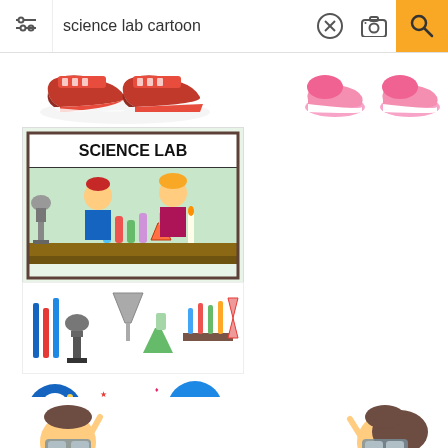[Figure (screenshot): Mobile search interface showing search bar with 'science lab cartoon' query, filter icon on left, X and camera icons, and yellow search button on right]
[Figure (illustration): Cartoon red sneakers/shoes]
[Figure (illustration): Cartoon pink slippers/shoes]
[Figure (illustration): Science lab cartoon with two children (boy with red hair and girl with blonde hair) doing experiments, microscope, colorful test tubes and flasks, SCIENCE LAB sign]
[Figure (illustration): Collection of science lab equipment cartoons: test tubes, microscope, funnel, flasks, scissors, beakers with colorful liquids]
[Figure (illustration): Science education cartoon with boy reading book surrounded by circular icons showing scientist, pills/medicine, microscope, lab coat person, robot]
[Figure (illustration): Two cartoon scientists (boy and girl) in lab coats wearing goggles, with a blue beaker between them, pointing upward]